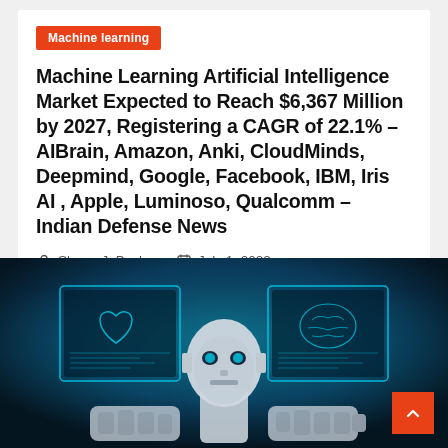Machine learning
Machine Learning Artificial Intelligence Market Expected to Reach $6,367 Million by 2027, Registering a CAGR of 22.1% – AIBrain, Amazon, Anki, CloudMinds, Deepmind, Google, Facebook, IBM, Iris AI , Apple, Luminoso, Qualcomm – Indian Defense News
Sherry J. Basler   July 1, 2022
[Figure (photo): AI robot humanoid face with glowing cyan holographic UI panels showing heart and brain medical interfaces, dark blue background, futuristic machine learning concept image]